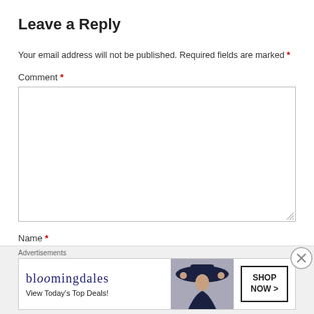Leave a Reply
Your email address will not be published. Required fields are marked *
Comment *
Name *
[Figure (screenshot): Bloomingdale's advertisement banner with text 'View Today's Top Deals!' and 'SHOP NOW >' button, featuring a woman in a large hat]
Advertisements